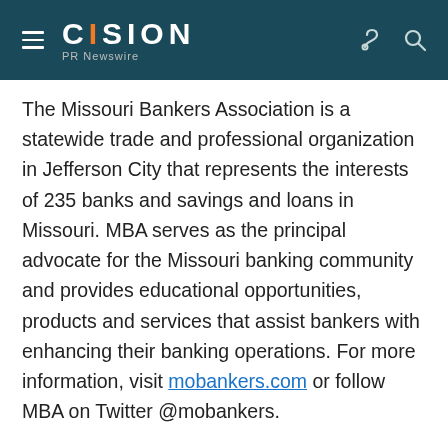CISION PR Newswire
The Missouri Bankers Association is a statewide trade and professional organization in Jefferson City that represents the interests of 235 banks and savings and loans in Missouri. MBA serves as the principal advocate for the Missouri banking community and provides educational opportunities, products and services that assist bankers with enhancing their banking operations. For more information, visit mobankers.com or follow MBA on Twitter @mobankers.
Media Contact:
Lori Bruce | Communications Director - Missouri Bankers Association